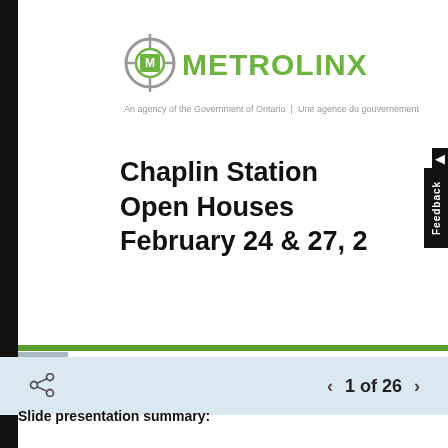[Figure (logo): Metrolinx logo with circular crosshair M symbol in green/gray and bold green METROLINX text, with tagline 'An agency of the Government of Ontario | Une agence du gouvernement']
Chaplin Station Open Houses February 24 & 27, 2
Feedback
1 of 26
Slide presentation summary: